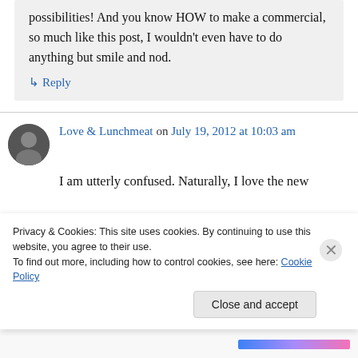possibilities! And you know HOW to make a commercial, so much like this post, I wouldn't even have to do anything but smile and nod.
↳ Reply
Love & Lunchmeat on July 19, 2012 at 10:03 am
I am utterly confused. Naturally, I love the new
Privacy & Cookies: This site uses cookies. By continuing to use this website, you agree to their use.
To find out more, including how to control cookies, see here: Cookie Policy
Close and accept